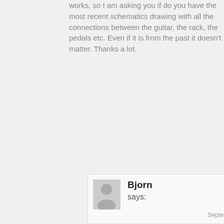works, so I am asking you if do you have the most recent schematics drawing with all the connections between the guitar, the rack, the pedals etc. Even if it is from the past it doesn't matter. Thanks a lot.
Reply
[Figure (illustration): Generic user avatar - gray silhouette of a person on a light gray background]
Bjorn says:
September